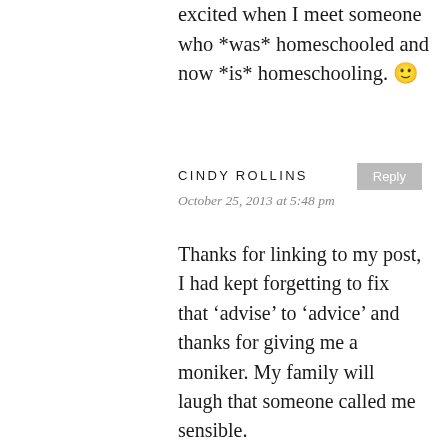excited when I meet someone who *was* homeschooled and now *is* homeschooling. 🙂
CINDY ROLLINS
October 25, 2013 at 5:48 pm
Thanks for linking to my post, I had kept forgetting to fix that ‘advise’ to ‘advice’ and thanks for giving me a moniker. My family will laugh that someone called me sensible.